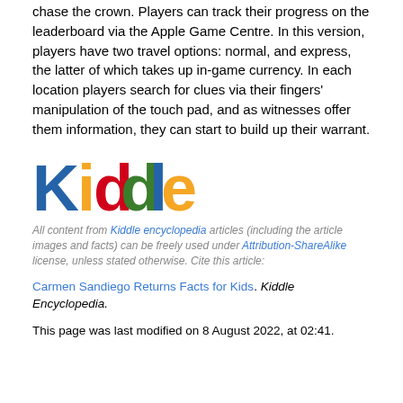chase the crown. Players can track their progress on the leaderboard via the Apple Game Centre. In this version, players have two travel options: normal, and express, the latter of which takes up in-game currency. In each location players search for clues via their fingers' manipulation of the touch pad, and as witnesses offer them information, they can start to build up their warrant.
[Figure (logo): Kiddle logo with colorful letters: K in blue, i in orange, d in red, d in green, l in blue, e in orange]
All content from Kiddle encyclopedia articles (including the article images and facts) can be freely used under Attribution-ShareAlike license, unless stated otherwise. Cite this article:
Carmen Sandiego Returns Facts for Kids. Kiddle Encyclopedia.
This page was last modified on 8 August 2022, at 02:41.